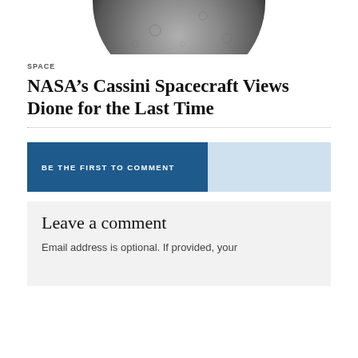[Figure (photo): Partial view of Dione, Saturn's moon, shown in black and white. The moon's cratered surface is visible at the bottom of a cropped image.]
SPACE
NASA’s Cassini Spacecraft Views Dione for the Last Time
BE THE FIRST TO COMMENT
Leave a comment
Email address is optional. If provided, your